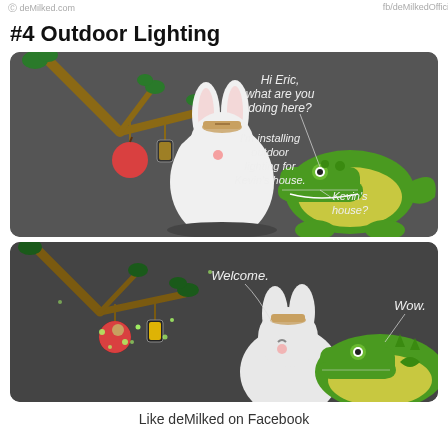Like deMilked on Facebook
#4 Outdoor Lighting
[Figure (illustration): Comic panel 1: A white round rabbit character is hanging a lantern on a tree branch with a red apple. A green crocodile sits to the right. Text bubbles say: 'Hi Eric, what are you doing here?' 'I'm installing outdoor lighting for Kevin's house.' 'Kevin's house?']
[Figure (illustration): Comic panel 2: The white rabbit stands near the same tree now lit with small glowing lights around the apple and lantern. The crocodile looks on. Text bubbles say: 'Welcome.' 'Wow.']
Like deMilked on Facebook